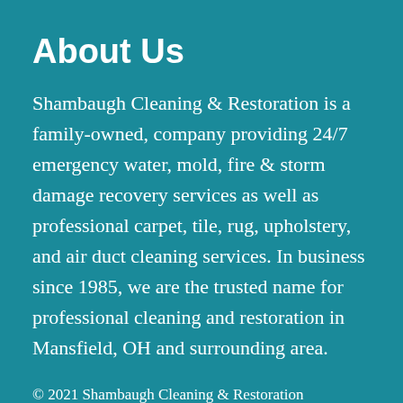About Us
Shambaugh Cleaning & Restoration is a family-owned, company providing 24/7 emergency water, mold, fire & storm damage recovery services as well as professional carpet, tile, rug, upholstery, and air duct cleaning services. In business since 1985, we are the trusted name for professional cleaning and restoration in Mansfield, OH and surrounding area.
© 2021 Shambaugh Cleaning & Restoration